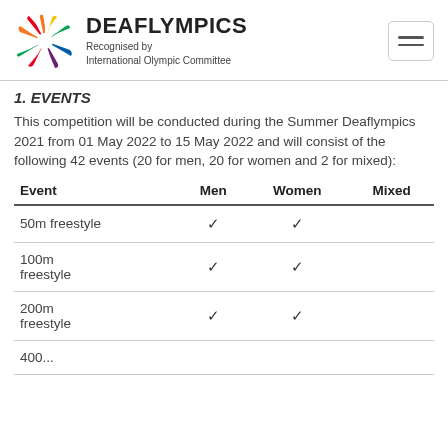DEAFLYMPICS — Recognised by International Olympic Committee
1. EVENTS
This competition will be conducted during the Summer Deaflympics 2021 from 01 May 2022 to 15 May 2022 and will consist of the following 42 events (20 for men, 20 for women and 2 for mixed):
| Event | Men | Women | Mixed |
| --- | --- | --- | --- |
| 50m freestyle | ✓ | ✓ |  |
| 100m freestyle | ✓ | ✓ |  |
| 200m freestyle | ✓ | ✓ |  |
| 400m... |  |  |  |